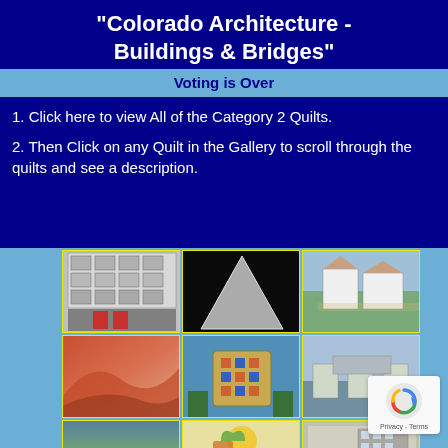"Colorado Architecture - Buildings & Bridges"
Voting is Over
1. Click here to view All of the Category 2 Quilts.
2. Then Click on any Quilt in the Gallery to scroll through the quilts and see a description.
[Figure (photo): Grid of quilt artwork thumbnails showing Colorado architecture-themed quilts in 3 columns and 5 rows with yellow borders on blue background]
[Figure (logo): Google reCAPTCHA badge with circular arrow icon and Privacy - Terms text]